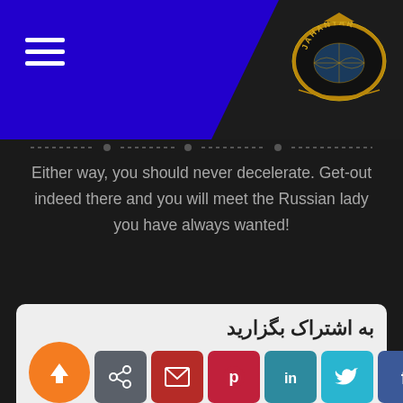[Figure (logo): Jahanyar logo badge - hexagonal/shield shape with gold border, dark background, globe map image, text JAHANYAR around top arc]
Either way, you should never decelerate. Get-out indeed there and you will meet the Russian lady you have always wanted!
به اشتراک بگزارید
[Figure (infographic): Share buttons row: orange circle with up-arrow, gray share icon, dark-red envelope, pink-red Pinterest circle, teal LinkedIn, cyan Twitter, blue Facebook]